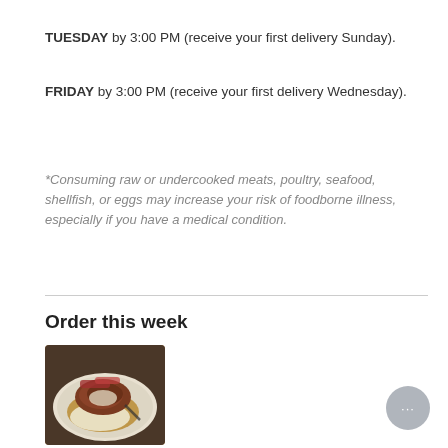TUESDAY by 3:00 PM (receive your first delivery Sunday).
FRIDAY by 3:00 PM (receive your first delivery Wednesday).
*Consuming raw or undercooked meats, poultry, seafood, shellfish, or eggs may increase your risk of foodborne illness, especially if you have a medical condition.
Order this week
[Figure (photo): A plated dish of meat with gravy and mashed potatoes on a white plate]